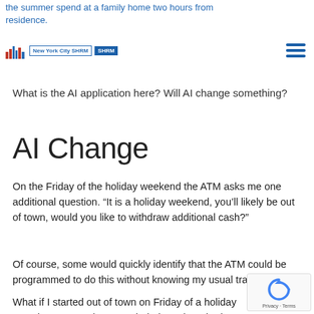the summer spend at a family home two hours from residence.
New York City SHRM logo and hamburger menu
What is the AI application here? Will AI change something?
AI Change
On the Friday of the holiday weekend the ATM asks me one additional question. “It is a holiday weekend, you’ll likely be out of town, would you like to withdraw additional cash?”
Of course, some would quickly identify that the ATM could be programmed to do this without knowing my usual travel plans.
What if I started out of town on Friday of a holiday w and my smart phone reminded me that I had not yet the ATM?